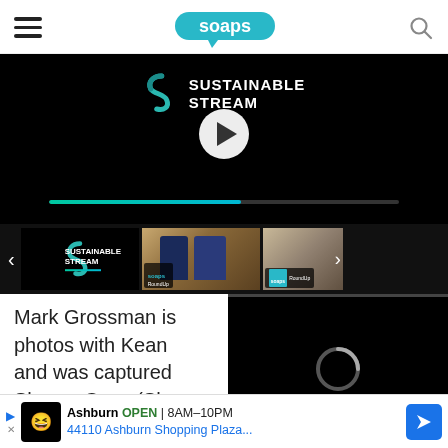soaps
[Figure (screenshot): Sustainable Stream video player with play button and progress bar on black background]
[Figure (screenshot): Horizontal thumbnail strip with left arrow, three video thumbnails including Sustainable Stream and Soaps RoundUp clips, and right arrow]
Mark Grossman is photos with Kean and was captured Sharon Case (Shar Emmys.
[Figure (screenshot): Overlay video player showing loading spinner, progress bar, mute icon, timecode 01:32, and fullscreen icon on black background]
[Figure (screenshot): Advertisement bar: Ashburn OPEN 8AM-10PM, 44110 Ashburn Shopping Plaza...]